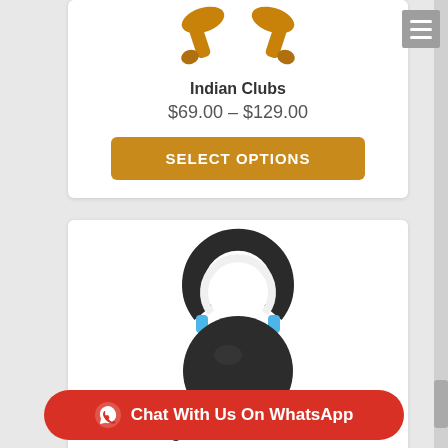[Figure (photo): Indian wooden clubs image at the top of a product card]
Indian Clubs
$69.00 – $129.00
SELECT OPTIONS
[Figure (photo): Black 12kg cast iron kettlebell with blue accent ring]
12kg Cast Iron Kettlebell
★★★★ (star rating)
Chat With Us On WhatsApp